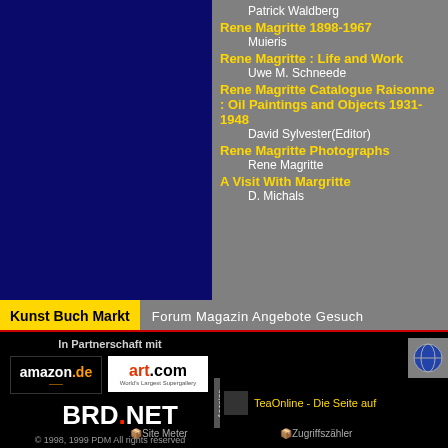[Figure (screenshot): Dark blue left panel background]
Patrick Waldberg
Rene Magritte 1898-1967 / Muieris
Rene Magritte : Life and Work / Uwe M. Schneede
Rene Magritte Catalogue Raisonne : Oil Paintings and Objects 1931-1948 / David Sylvester(Editor)
Rene Magritte Photographs / Rene Magritte
A Visit With Margritte / D. Michals
Kunst Buch Markt
Forum Magazin Angebote Gesuch
In Partnerschaft mit
[Figure (logo): amazon.de logo]
[Figure (logo): art.com - World's Largest Supergallery logo]
[Figure (logo): BRD.NET logo]
[Figure (logo): Globe/world icon]
TeaOnline - Die Seite auf
© 1998, 1999 PDM All rights reserved
E-Mail: info@gemaelde-boerse.de
Site Meter
Zugriffszähler